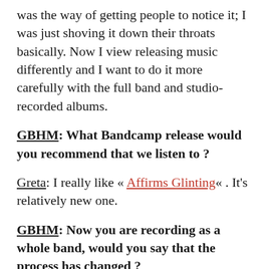was the way of getting people to notice it; I was just shoving it down their throats basically. Now I view releasing music differently and I want to do it more carefully with the full band and studio-recorded albums.
GBHM: What Bandcamp release would you recommend that we listen to ?
Greta: I really like « Affirms Glinting« . It's relatively new one.
GBHM: Now you are recording as a whole band, would you say that the process has changed ?